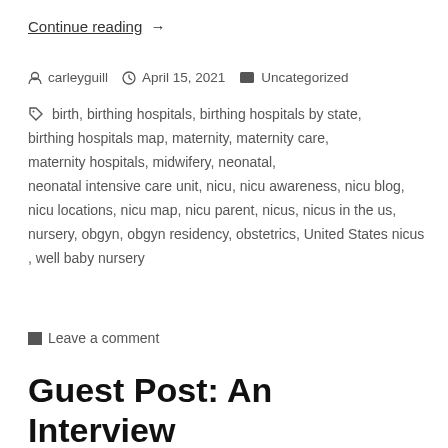Continue reading →
carleyguill   April 15, 2021   Uncategorized
birth, birthing hospitals, birthing hospitals by state, birthing hospitals map, maternity, maternity care, maternity hospitals, midwifery, neonatal, neonatal intensive care unit, nicu, nicu awareness, nicu blog, nicu locations, nicu map, nicu parent, nicus, nicus in the us, nursery, obgyn, obgyn residency, obstetrics, United States nicus, well baby nursery
Leave a comment
Guest Post: An Interview with Me Two Books